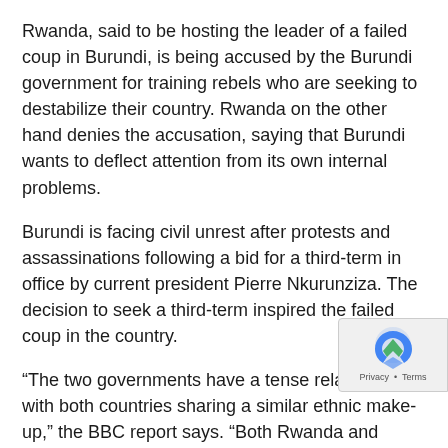Rwanda, said to be hosting the leader of a failed coup in Burundi, is being accused by the Burundi government for training rebels who are seeking to destabilize their country. Rwanda on the other hand denies the accusation, saying that Burundi wants to deflect attention from its own internal problems.
Burundi is facing civil unrest after protests and assassinations following a bid for a third-term in office by current president Pierre Nkurunziza. The decision to seek a third-term inspired the failed coup in the country.
“The two governments have a tense relationship, with both countries sharing a similar ethnic make-up,” the BBC report says. “Both Rwanda and Burundi have long experienced ethnic conflict between a Hutu majority and a Tutsi minority which has traditionally been dominant.”
Meanwhile another report states that the European Union(EU) has imposed a travel ban and freeze on the assets of aides associated with Nkurunziza, as well as the leaders of the failed coup.
3. WHO working to eliminate HIV by 2030